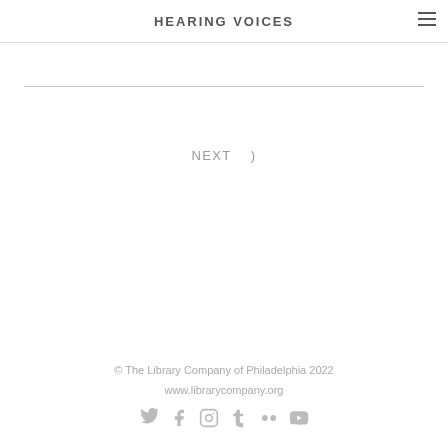HEARING VOICES
NEXT  )
© The Library Company of Philadelphia 2022
www.librarycompany.org